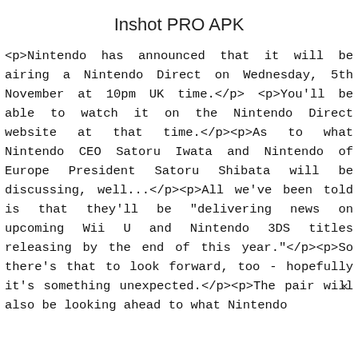Inshot PRO APK
<p>Nintendo has announced that it will be airing a Nintendo Direct on Wednesday, 5th November at 10pm UK time.</p> <p>You'll be able to watch it on the Nintendo Direct website at that time.</p><p>As to what Nintendo CEO Satoru Iwata and Nintendo of Europe President Satoru Shibata will be discussing, well...</p><p>All we've been told is that they'll be "delivering news on upcoming Wii U and Nintendo 3DS titles releasing by the end of this year."</p><p>So there's that to look forward, too - hopefully it's something unexpected.</p> <p>The pair will also be looking ahead to what Nintendo